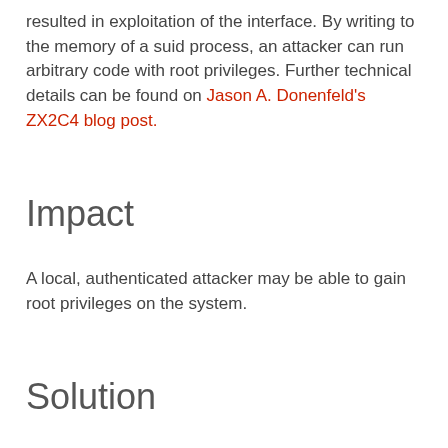resulted in exploitation of the interface. By writing to the memory of a suid process, an attacker can run arbitrary code with root privileges. Further technical details can be found on Jason A. Donenfeld's ZX2C4 blog post.
Impact
A local, authenticated attacker may be able to gain root privileges on the system.
Solution
Apply an update
Patch commit